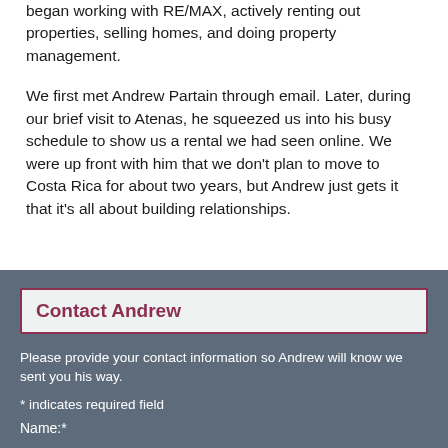began working with RE/MAX, actively renting out properties, selling homes, and doing property management.
We first met Andrew Partain through email. Later, during our brief visit to Atenas, he squeezed us into his busy schedule to show us a rental we had seen online. We were up front with him that we don't plan to move to Costa Rica for about two years, but Andrew just gets it that it's all about building relationships.
Contact Andrew
Please provide your contact information so Andrew will know we sent you his way.
* indicates required field
Name:*